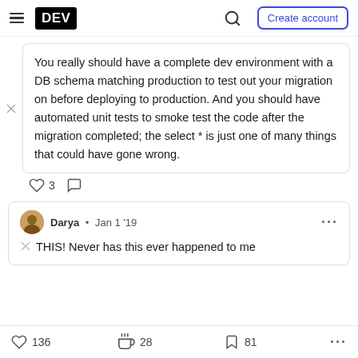DEV — Create account
You really should have a complete dev environment with a DB schema matching production to test out your migration on before deploying to production. And you should have automated unit tests to smoke test the code after the migration completed; the select * is just one of many things that could have gone wrong.
♡ 3  ◯
Darya • Jan 1 '19
THIS! Never has this ever happened to me
♡ 136   28   81   ...